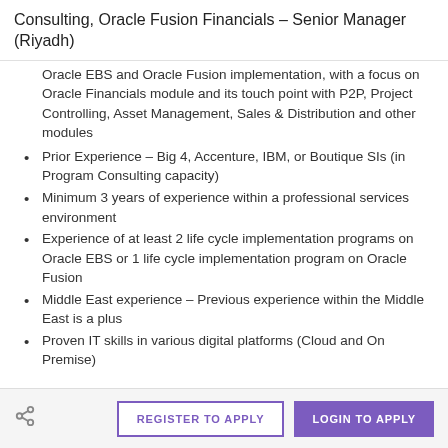Consulting, Oracle Fusion Financials – Senior Manager (Riyadh)
Oracle EBS and Oracle Fusion implementation, with a focus on Oracle Financials module and its touch point with P2P, Project Controlling, Asset Management, Sales & Distribution and other modules
Prior Experience – Big 4, Accenture, IBM, or Boutique SIs (in Program Consulting capacity)
Minimum 3 years of experience within a professional services environment
Experience of at least 2 life cycle implementation programs on Oracle EBS or 1 life cycle implementation program on Oracle Fusion
Middle East experience – Previous experience within the Middle East is a plus
Proven IT skills in various digital platforms (Cloud and On Premise)